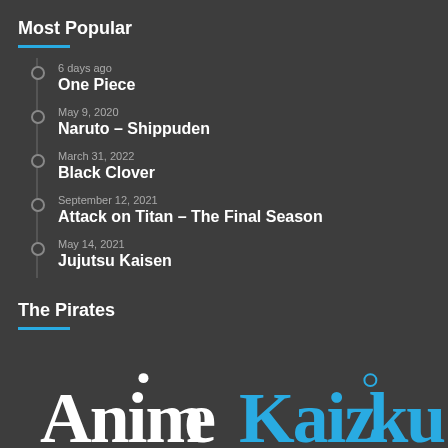Most Popular
6 days ago
One Piece
May 9, 2020
Naruto – Shippuden
March 31, 2022
Black Clover
September 12, 2021
Attack on Titan – The Final Season
May 14, 2021
Jujutsu Kaisen
The Pirates
[Figure (logo): Anime Kaizoku logo with white and blue stylized text]